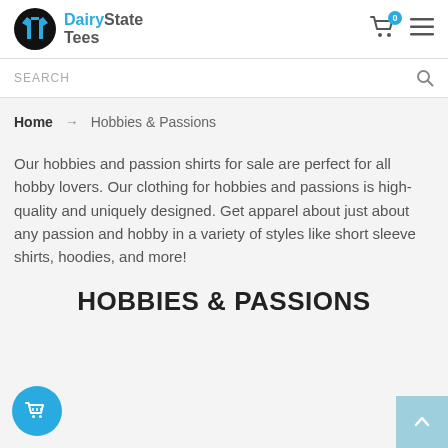DairyState Tees — header with logo, cart icon (0 items), and menu icon
SEARCH
Home → Hobbies & Passions
Our hobbies and passion shirts for sale are perfect for all hobby lovers. Our clothing for hobbies and passions is high-quality and uniquely designed. Get apparel about just about any passion and hobby in a variety of styles like short sleeve shirts, hoodies, and more!
HOBBIES & PASSIONS